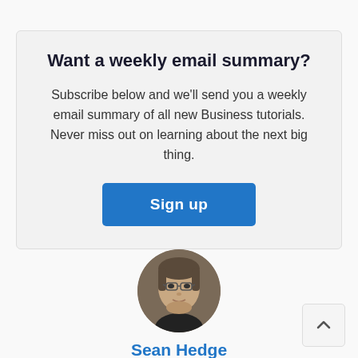Want a weekly email summary?
Subscribe below and we’ll send you a weekly email summary of all new Business tutorials. Never miss out on learning about the next big thing.
[Figure (other): Blue 'Sign up' button]
[Figure (photo): Circular portrait photo of Sean Hedge, a man with glasses]
Sean Hedge